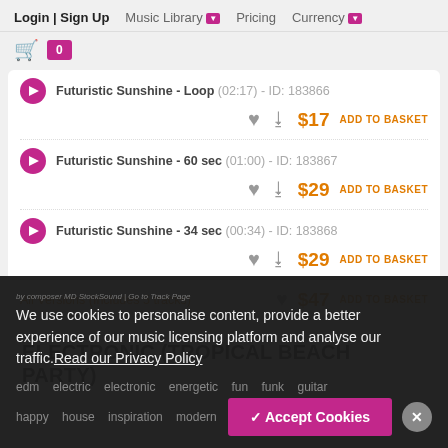Login | Sign Up  Music Library  Pricing  Currency
Futuristic Sunshine - Loop (02:17) - ID: 183866  $17 ADD TO BASKET
Futuristic Sunshine - 60 sec (01:00) - ID: 183867  $29 ADD TO BASKET
Futuristic Sunshine - 34 sec (00:34) - ID: 183868  $29 ADD TO BASKET
All Versions (Includes 5 tracks)  $47 ADD TO BASKET
ELECTRONIC (TROPICAL BEACH PARTY)
We use cookies to personalise content, provide a better experience of our music licensing platform and analyse our traffic.Read our Privacy Policy
edm  electric  electronic  energetic  fun  funk  guitar
happy  house  inspiration  modern  ...  no